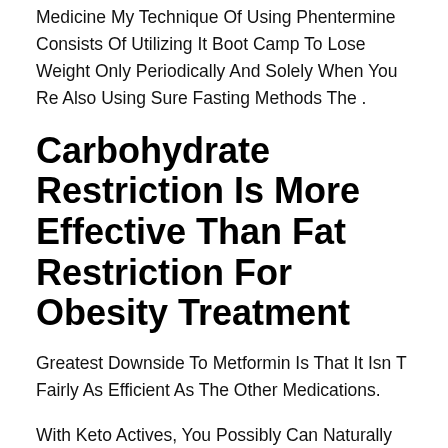Medicine My Technique Of Using Phentermine Consists Of Utilizing It Boot Camp To Lose Weight Only Periodically And Solely When You Re Also Using Sure Fasting Methods The .
Carbohydrate Restriction Is More Effective Than Fat Restriction For Obesity Treatment
Greatest Downside To Metformin Is That It Isn T Fairly As Efficient As The Other Medications.
With Keto Actives, You Possibly Can Naturally Shed Weight Very Aggressively And Shortly Since These Tablets Have Obtained A Lot Of Consideration From Scientists